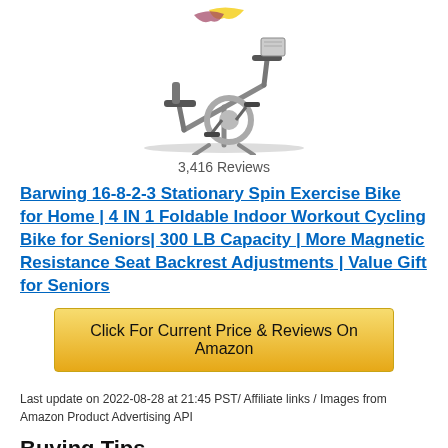[Figure (photo): Product image of a Barwing stationary spin exercise bike, shown at an angle against a white background]
3,416 Reviews
Barwing 16-8-2-3 Stationary Spin Exercise Bike for Home | 4 IN 1 Foldable Indoor Workout Cycling Bike for Seniors| 300 LB Capacity | More Magnetic Resistance Seat Backrest Adjustments | Value Gift for Seniors
Click For Current Price & Reviews On Amazon
Last update on 2022-08-28 at 21:45 PST/ Affiliate links / Images from Amazon Product Advertising API
Buying Tips